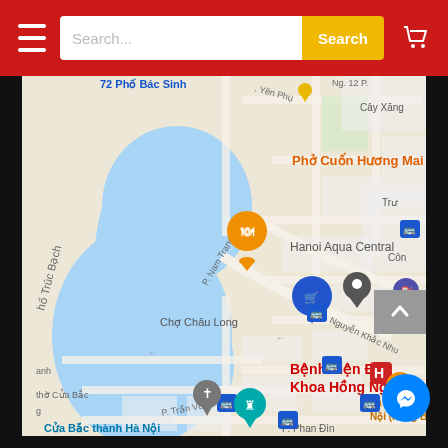[Figure (screenshot): Mobile app screenshot showing a red navigation bar with hamburger menu, search input field, yellow Search button, and cart icon. Below is a Google Maps view of Hanoi showing Hồ Trúc Bạch lake, locations including Phở Cuốn Hương Mai, Chợ Châu Long, Hanoi Aqua Central, Bệnh Viện Đa Khoa Hồng Ngọc, Là Việt Coffee Hà Nội, Cửa Bắc thành Hà Nội, and various street names. Map markers include restaurant, shopping cart, bus stops, hospital H marker, location pins, gas station, coffee cup, and church cross icons.]